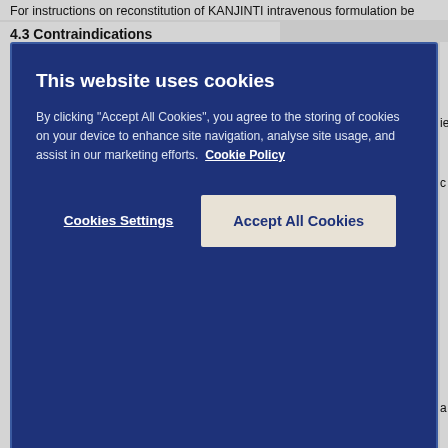For instructions on reconstitution of KANJINTI intravenous formulation be
4.3 Contraindications
[Figure (screenshot): Cookie consent modal popup with dark blue background. Title: 'This website uses cookies'. Body text: 'By clicking "Accept All Cookies", you agree to the storing of cookies on your device to enhance site navigation, analyse site usage, and assist in our marketing efforts. Cookie Policy'. Two buttons: 'Cookies Settings' (text link) and 'Accept All Cookies' (beige button).]
Currently no data from clinical trials are available on re-treatment of patients in the adjuvant setting.
Cardiac dysfunction
General considerations
Patients treated with KANJINTI are at increased risk for developing CHF (NYHA class II-IV) or asymptomatic cardiac dysfunction. These events have been observed with KANJINTI alone or in combination with paclitaxel or docetaxel, particularly following anthracycline-containing chemotherapy. These may be moderate to severe and have been fatal. In addition, caution should be exercised in treating patients with increased cardiac risk factors, coronary artery disease, CHF, LVEF of < 55%, older age.
All candidates for treatment with KANJINTI, but especially those with prior